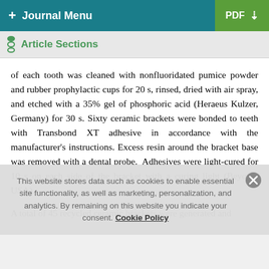+ Journal Menu   PDF ↓
Article Sections
of each tooth was cleaned with nonfluoridated pumice powder and rubber prophylactic cups for 20 s, rinsed, dried with air spray, and etched with a 35% gel of phosphoric acid (Heraeus Kulzer, Germany) for 30 s. Sixty ceramic brackets were bonded to teeth with Transbond XT adhesive in accordance with the manufacturer's instructions. Excess resin around the bracket base was removed with a dental probe. Adhesives were light-cured for 10 s on each side of the bracket with a curing light (Beyond, USA).
A total of 45 recycled ceramic brackets were generated and
This website stores data such as cookies to enable essential site functionality, as well as marketing, personalization, and analytics. By remaining on this website you indicate your consent. Cookie Policy